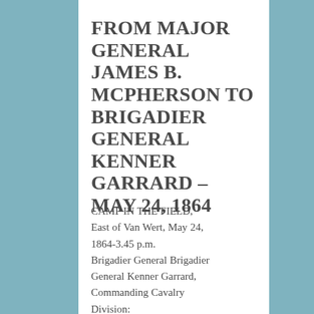FROM MAJOR GENERAL JAMES B. MCPHERSON TO BRIGADIER GENERAL KENNER GARRARD – MAY 24, 1864
CAMP IN THE FIELD, East of Van Wert, May 24, 1864-3.45 p.m. Brigadier General Brigadier General Kenner Garrard, Commanding Cavalry Division: The main column is going into camp on this creek, where there is water. Camp